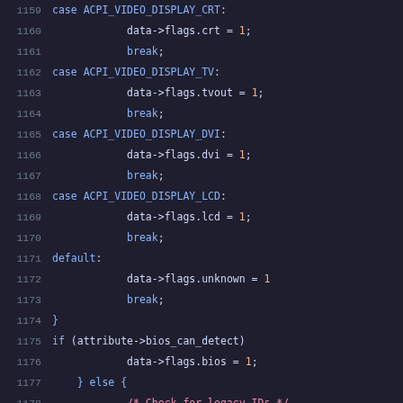Source code listing lines 1159-1179, C language kernel code showing switch-case for ACPI video display types